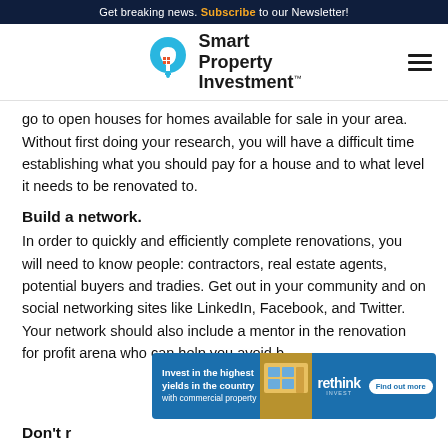Get breaking news. Subscribe to our Newsletter!
[Figure (logo): Smart Property Investment logo with lightbulb icon]
go to open houses for homes available for sale in your area. Without first doing your research, you will have a difficult time establishing what you should pay for a house and to what level it needs to be renovated to.
Build a network.
In order to quickly and efficiently complete renovations, you will need to know people: contractors, real estate agents, potential buyers and tradies. Get out in your community and on social networking sites like LinkedIn, Facebook, and Twitter. Your network should also include a mentor in the renovation for profit arena who can help you avoid b
[Figure (infographic): Advertisement banner: Invest in the highest yields in the country with commercial property - rethink - Find out more]
Don't r